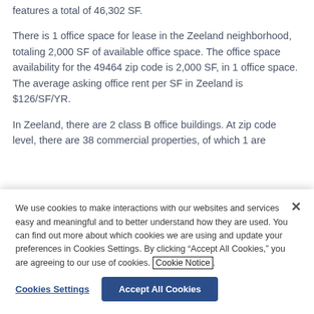features a total of 46,302 SF.
There is 1 office space for lease in the Zeeland neighborhood, totaling 2,000 SF of available office space. The office space availability for the 49464 zip code is 2,000 SF, in 1 office space. The average asking office rent per SF in Zeeland is $126/SF/YR.
In Zeeland, there are 2 class B office buildings. At zip code level, there are 38 commercial properties, of which 1 are
We use cookies to make interactions with our websites and services easy and meaningful and to better understand how they are used. You can find out more about which cookies we are using and update your preferences in Cookies Settings. By clicking “Accept All Cookies,” you are agreeing to our use of cookies. Cookie Notice.